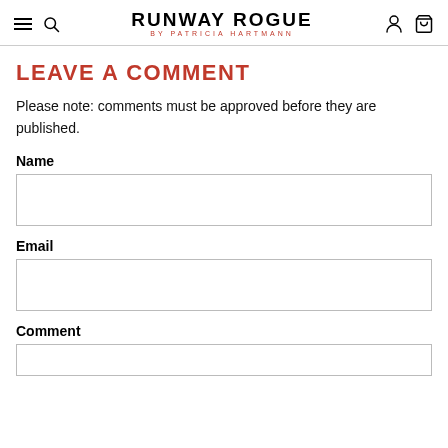RUNWAY ROGUE BY PATRICIA HARTMANN
LEAVE A COMMENT
Please note: comments must be approved before they are published.
Name
Email
Comment